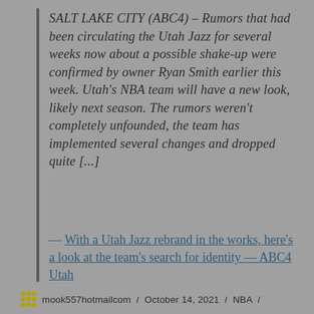SALT LAKE CITY (ABC4) – Rumors that had been circulating the Utah Jazz for several weeks now about a possible shake-up were confirmed by owner Ryan Smith earlier this week. Utah's NBA team will have a new look, likely next season. The rumors weren't completely unfounded, the team has implemented several changes and dropped quite [...]
— With a Utah Jazz rebrand in the works, here's a look at the team's search for identity — ABC4 Utah
mook557hotmailcom / October 14, 2021 / NBA /